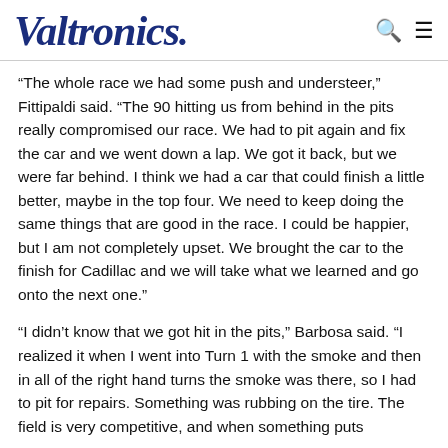Valtronics
“The whole race we had some push and understeer,” Fittipaldi said. “The 90 hitting us from behind in the pits really compromised our race. We had to pit again and fix the car and we went down a lap. We got it back, but we were far behind. I think we had a car that could finish a little better, maybe in the top four. We need to keep doing the same things that are good in the race. I could be happier, but I am not completely upset. We brought the car to the finish for Cadillac and we will take what we learned and go onto the next one.”
“I didn’t know that we got hit in the pits,” Barbosa said. “I realized it when I went into Turn 1 with the smoke and then in all of the right hand turns the smoke was there, so I had to pit for repairs. Something was rubbing on the tire. The field is very competitive, and when something puts